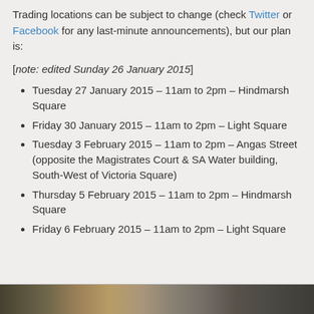Trading locations can be subject to change (check Twitter or Facebook for any last-minute announcements), but our plan is:
[note: edited Sunday 26 January 2015]
Tuesday 27 January 2015 – 11am to 2pm – Hindmarsh Square
Friday 30 January 2015 – 11am to 2pm – Light Square
Tuesday 3 February 2015 – 11am to 2pm – Angas Street (opposite the Magistrates Court & SA Water building, South-West of Victoria Square)
Thursday 5 February 2015 – 11am to 2pm – Hindmarsh Square
Friday 6 February 2015 – 11am to 2pm – Light Square
[Figure (photo): A strip of photos at the bottom of the page showing outdoor market/food truck scenes]